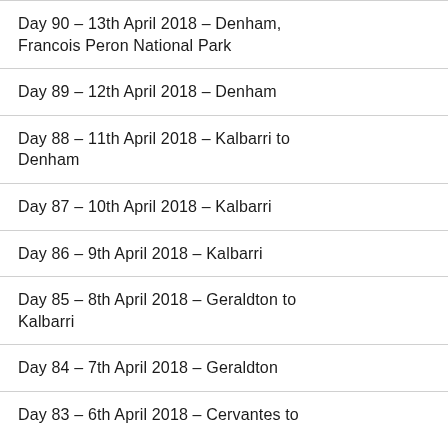Day 90 – 13th April 2018 – Denham, Francois Peron National Park
Day 89 – 12th April 2018 – Denham
Day 88 – 11th April 2018 – Kalbarri to Denham
Day 87 – 10th April 2018 – Kalbarri
Day 86 – 9th April 2018 – Kalbarri
Day 85 – 8th April 2018 – Geraldton to Kalbarri
Day 84 – 7th April 2018 – Geraldton
Day 83 – 6th April 2018 – Cervantes to